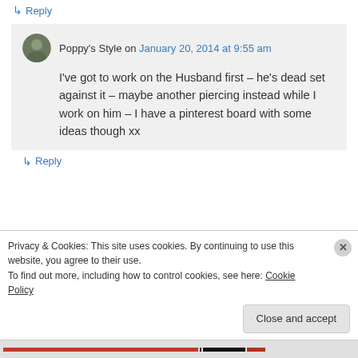↳ Reply
Poppy's Style on January 20, 2014 at 9:55 am
I've got to work on the Husband first – he's dead set against it – maybe another piercing instead while I work on him – I have a pinterest board with some ideas though xx
↳ Reply
Privacy & Cookies: This site uses cookies. By continuing to use this website, you agree to their use.
To find out more, including how to control cookies, see here: Cookie Policy
Close and accept